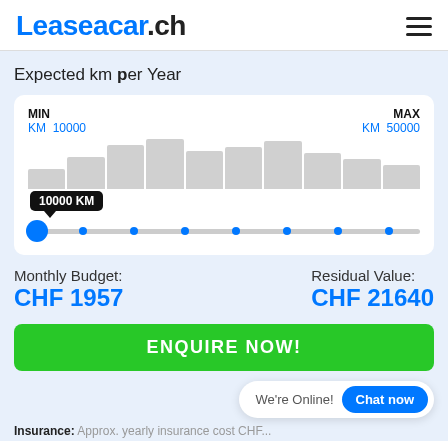Leaseacar.ch
Expected km per Year
[Figure (other): Range slider showing KM per year with MIN KM 10000 and MAX KM 50000, current value tooltip showing 10000 KM, with histogram bars in background]
Monthly Budget: CHF 1957
Residual Value: CHF 21640
ENQUIRE NOW!
We're Online! Chat now
Insurance: Approx. yearly insurance cost CHF...